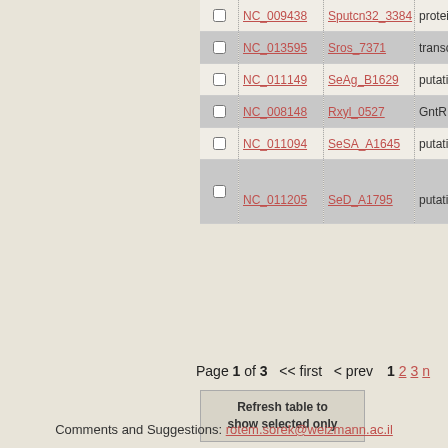|  | Accession | Gene | Description |
| --- | --- | --- | --- |
| ☐ | NC_009438 | Sputcn32_3384 | protein HTH |
| ☐ | NC_013595 | Sros_7371 | transcriptional regulator NanR |
| ☐ | NC_011149 | SeAg_B1629 | putative regulatory protein |
| ☐ | NC_008148 | Rxyl_0527 | GntR family transcriptional regulator |
| ☐ | NC_011094 | SeSA_A1645 | putative regulatory protein |
| ☐ | NC_011205 | SeD_A1795 | putative regulatory protein |
Page 1 of 3   << first  < prev  1  2  3  n
Refresh table to show selected only
Comments and Suggestions: rotem.sorek@weizmann.ac.il